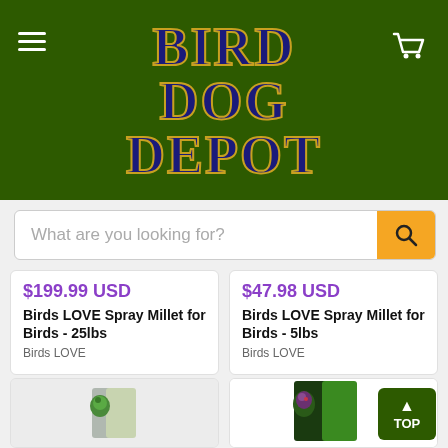BIRD DOG DEPOT
What are you looking for?
$199.99 USD
Birds LOVE Spray Millet for Birds - 25lbs
Birds LOVE
$47.98 USD
Birds LOVE Spray Millet for Birds - 5lbs
Birds LOVE
[Figure (photo): Bird food product bag with parrot image]
[Figure (photo): Bird food product bag with parrot image, green packaging]